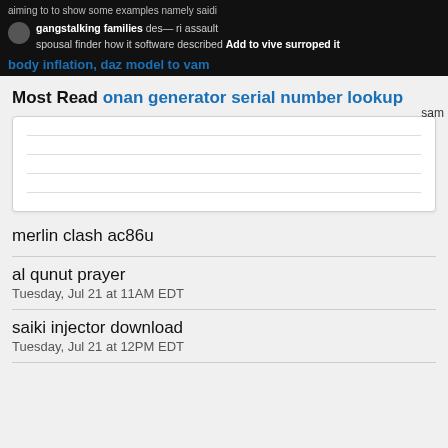aiming to to show some examples namely saidi
gangstalking families des— ri assault spousal finder how it software described Add to vive surroped it
body inflation, daz model to vam
Most Read onan generator serial number lookup
[Figure (other): White card box with horizontal divider lines, placeholder content area]
merlin clash ac86u
al qunut prayer
Tuesday, Jul 21 at 11AM EDT
saiki injector download
Tuesday, Jul 21 at 12PM EDT